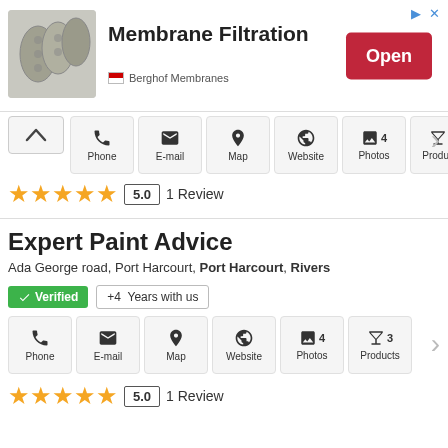[Figure (infographic): Advertisement banner for Berghof Membranes showing membrane filtration product image, title 'Membrane Filtration', and a red 'Open' button.]
[Figure (infographic): Icon bar with Phone, E-mail, Map, Website, 4 Photos, 3 Products action buttons for first listing.]
★★★★★  5.0  1 Review
Expert Paint Advice
Ada George road, Port Harcourt, Port Harcourt, Rivers
✓ Verified  +4  Years with us
[Figure (infographic): Icon bar with Phone, E-mail, Map, Website, 4 Photos, 3 Products action buttons for Expert Paint Advice listing.]
★★★★★  5.0  1 Review